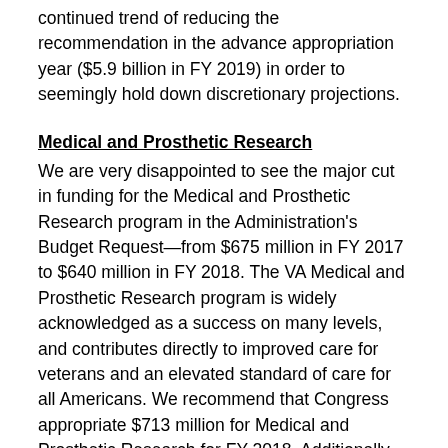continued trend of reducing the recommendation in the advance appropriation year ($5.9 billion in FY 2019) in order to seemingly hold down discretionary projections.
Medical and Prosthetic Research
We are very disappointed to see the major cut in funding for the Medical and Prosthetic Research program in the Administration's Budget Request—from $675 million in FY 2017 to $640 million in FY 2018. The VA Medical and Prosthetic Research program is widely acknowledged as a success on many levels, and contributes directly to improved care for veterans and an elevated standard of care for all Americans. We recommend that Congress appropriate $713 million for Medical and Prosthetic Research for FY 2018. Additionally, under the President's Precision Medicine Initiative, the JRVSOs recommend $65 million to enable VA to